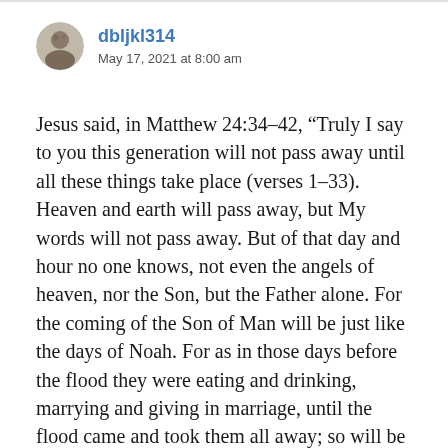dbljkl314
May 17, 2021 at 8:00 am
Jesus said, in Matthew 24:34–42, “Truly I say to you this generation will not pass away until all these things take place (verses 1–33). Heaven and earth will pass away, but My words will not pass away. But of that day and hour no one knows, not even the angels of heaven, nor the Son, but the Father alone. For the coming of the Son of Man will be just like the days of Noah. For as in those days before the flood they were eating and drinking, marrying and giving in marriage, until the flood came and took them all away; so will be the coming of